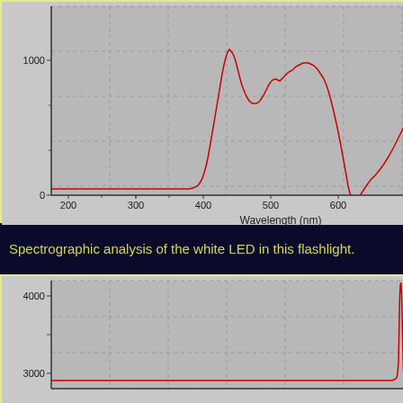[Figure (continuous-plot): Spectrum plot of a white LED flashlight. X-axis: Wavelength (nm) from ~175 to beyond 650. Y-axis: intensity from 0 to above 1000. The red curve is flat near ~50 from 175-420nm, then rises sharply near 450nm to ~1400, dips at ~500 to ~800, peaks again at ~550 to ~1350, then decreases toward 650+.]
Spectrographic analysis of the white LED in this flashlight.
[Figure (continuous-plot): Second spectrographic plot. Y-axis ranges from ~2800 to above 4000. A sharp narrow red peak appears at the far right edge of the chart (~655nm). The rest of the spectrum is flat near ~2800-2900.]